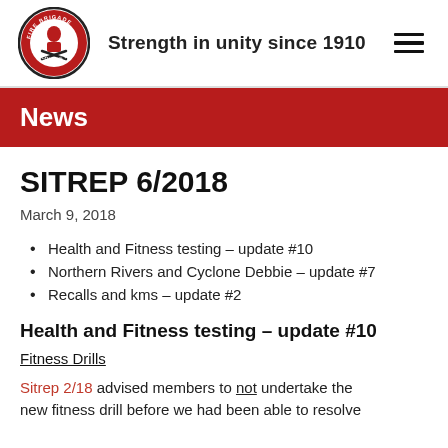Strength in unity since 1910
News
SITREP 6/2018
March 9, 2018
Health and Fitness testing – update #10
Northern Rivers and Cyclone Debbie – update #7
Recalls and kms – update #2
Health and Fitness testing – update #10
Fitness Drills
Sitrep 2/18 advised members to not undertake the new fitness drill before we had been able to resolve